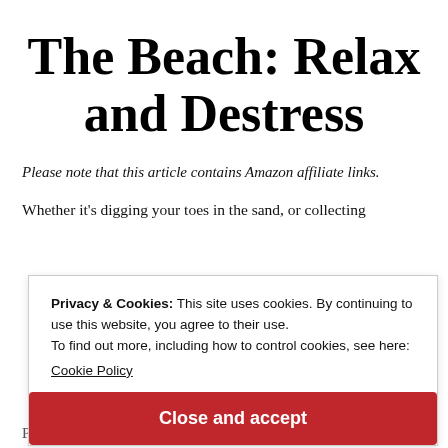The Beach: Relax and Destress
Please note that this article contains Amazon affiliate links.
Whether it's digging your toes in the sand, or collecting
Privacy & Cookies: This site uses cookies. By continuing to use this website, you agree to their use.
To find out more, including how to control cookies, see here:
Cookie Policy
Close and accept
People are willing to pack up their car for a day of sun and